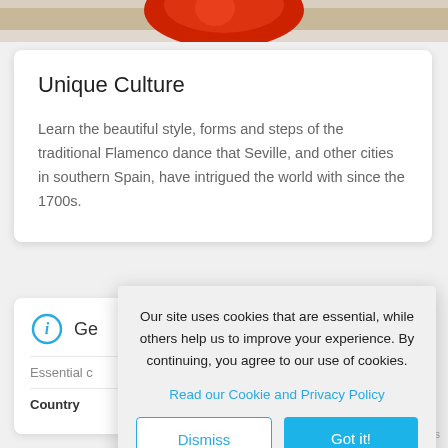[Figure (photo): Top cropped photo showing red clothing/dress and a wooden floor background]
Unique Culture
Learn the beautiful style, forms and steps of the traditional Flamenco dance that Seville, and other cities in southern Spain, have intrigued the world with since the 1700s.
[Figure (infographic): Info icon (circle with italic i) followed by partial 'Ge' heading label]
Essential c
Country	Spain
Our site uses cookies that are essential, while others help us to improve your experience. By continuing, you agree to our use of cookies.
Read our Cookie and Privacy Policy
Dismiss
Got it!